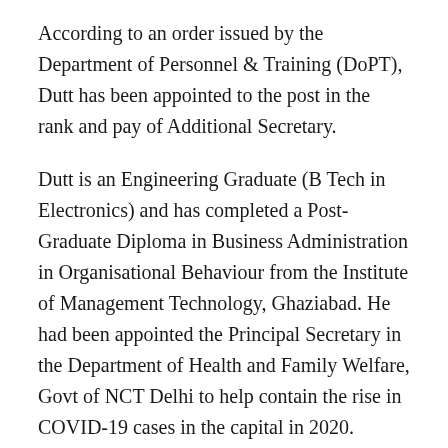According to an order issued by the Department of Personnel & Training (DoPT), Dutt has been appointed to the post in the rank and pay of Additional Secretary.
Dutt is an Engineering Graduate (B Tech in Electronics) and has completed a Post-Graduate Diploma in Business Administration in Organisational Behaviour from the Institute of Management Technology, Ghaziabad. He had been appointed the Principal Secretary in the Department of Health and Family Welfare, Govt of NCT Delhi to help contain the rise in COVID-19 cases in the capital in 2020.
With this new assignment, Dutt will replace the